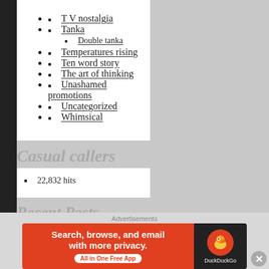T V nostalgia
Tanka
Double tanka
Temperatures rising
Ten word story
The art of thinking
Unashamed promotions
Uncategorized
Whimsical
Casual callers
22,832 hits
Recent Posts
Advertisements
[Figure (infographic): DuckDuckGo advertisement banner: Search, browse, and email with more privacy. All in One Free App]